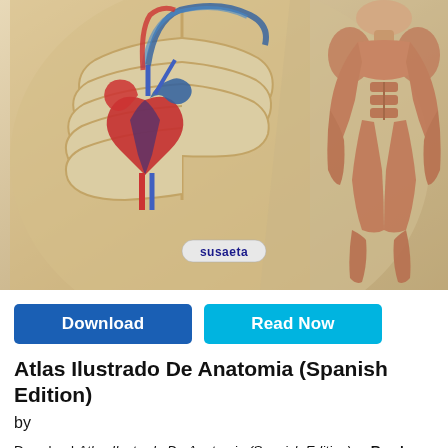[Figure (illustration): Anatomical illustration showing a human torso with visible heart, ribs, blood vessels in the chest cavity on the left, and a full-body muscular anatomy figure on the right. The Susaeta publisher logo appears at the bottom center of the image.]
Download | Read Now
Atlas Ilustrado De Anatomia (Spanish Edition)
by
Download Atlas Ilustrado De Anatomia (Spanish Edition) or Read Atlas